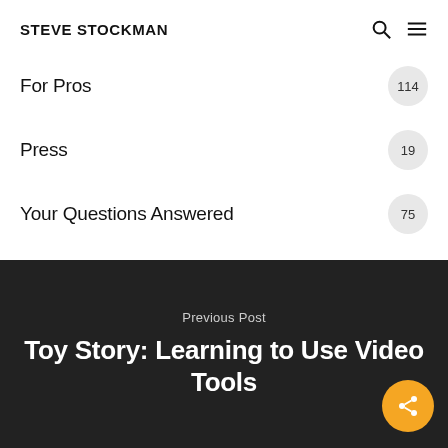STEVE STOCKMAN
For Pros 114
Press 19
Your Questions Answered 75
Previous Post
Toy Story: Learning to Use Video Tools